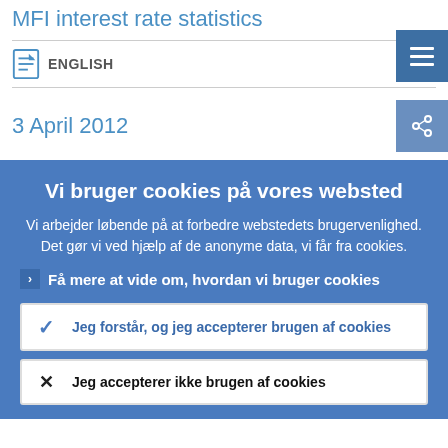MFI interest rate statistics
ENGLISH
3 April 2012
Vi bruger cookies på vores websted
Vi arbejder løbende på at forbedre webstedets brugervenlighed. Det gør vi ved hjælp af de anonyme data, vi får fra cookies.
Få mere at vide om, hvordan vi bruger cookies
Jeg forstår, og jeg accepterer brugen af cookies
Jeg accepterer ikke brugen af cookies